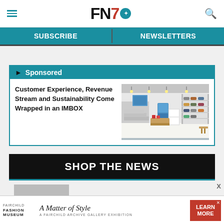FN (Footwear News) website header with hamburger menu, FN logo, and search icon
SUBSCRIBE | NEWSLETTERS
Sponsored
Customer Experience, Revenue Stream and Sustainability Come Wrapped in an IMBOX
[Figure (photo): Interior of a shoe retail store with white shelves displaying footwear, a wooden counter, and modern lighting]
SHOP THE NEWS
[Figure (logo): Fairchild Fashion Museum advertisement - A Matter of Style, A Fairchild Archive Gallery Exhibition, with LEARN MORE button]